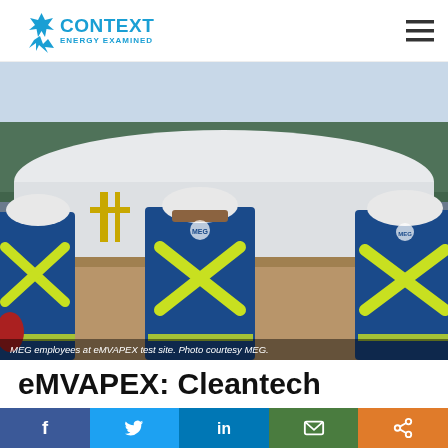Context Energy Examined
[Figure (photo): Three MEG Energy employees in blue coveralls with yellow X reflective strips walking away from camera toward a large white pipeline at an industrial test site. Trees and industrial structures visible in background.]
MEG employees at eMVAPEX test site. Photo courtesy MEG.
eMVAPEX: Cleantech
f  Twitter  in  Email  Share